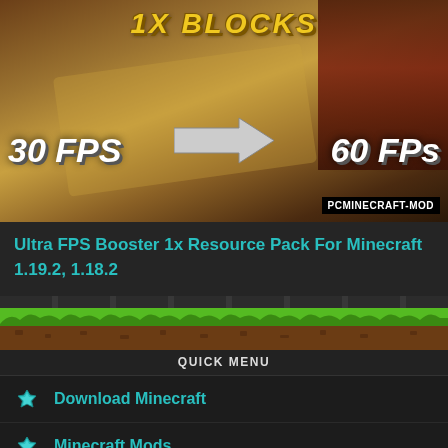[Figure (screenshot): Minecraft game screenshot showing a top-down view of a map with blocks, labeled '1X BLOCKS' at top in yellow, '30 FPS' on left and '60 FPS' on right with a large arrow pointing right between them, and 'PCMINECRAFT-MOD' branding in bottom right corner.]
Ultra FPS Booster 1x Resource Pack For Minecraft 1.19.2, 1.18.2
[Figure (infographic): Minecraft-style grass block banner bar serving as a navigation header]
QUICK MENU
Download Minecraft
Minecraft Mods
Minecraft Data Packs